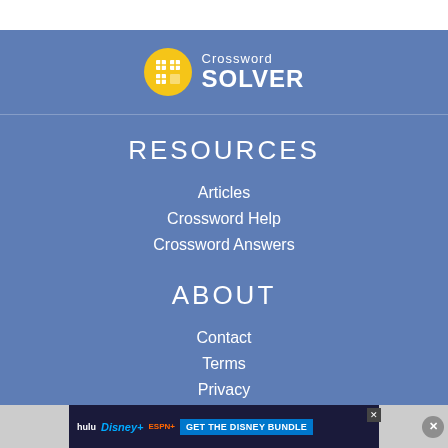[Figure (logo): Crossword Solver logo with yellow circular icon containing a crossword grid symbol and white text 'Crossword SOLVER']
RESOURCES
Articles
Crossword Help
Crossword Answers
ABOUT
Contact
Terms
Privacy
[Figure (screenshot): Disney Bundle advertisement banner showing Hulu, Disney+, and ESPN+ logos with 'GET THE DISNEY BUNDLE' call to action]